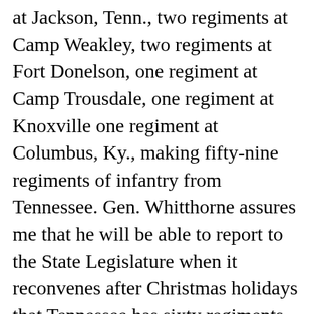at Jackson, Tenn., two regiments at Camp Weakley, two regiments at Fort Donelson, one regiment at Camp Trousdale, one regiment at Knoxville one regiment at Columbus, Ky., making fifty-nine regiments of infantry from Tennessee. Gen. Whitthorne assures me that he will be able to report to the State Legislature when it reconvenes after Christmas holidays that Tennessee has sixty regiments of infantry in the field, besides twelve battalions of cavalry and two regiments of artillery. I may be permitted to say familiarly to you that I should be pleased, if the general could find it consistent with his duties in view of these facts, to recommend my